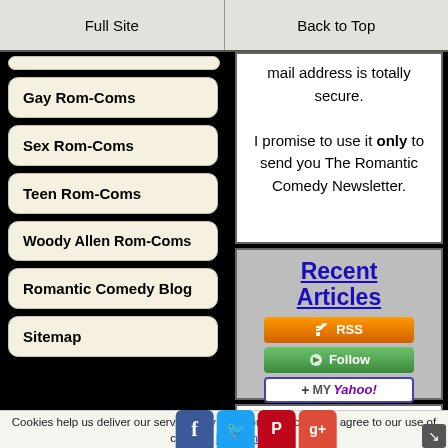Full Site | Back to Top
(partial nav button - top)
Gay Rom-Coms
Sex Rom-Coms
Teen Rom-Coms
Woody Allen Rom-Coms
Romantic Comedy Blog
Sitemap
mail address is totally secure. I promise to use it only to send you The Romantic Comedy Newsletter.
[Figure (screenshot): Recent Articles box with RSS, Follow, and My Yahoo! subscription buttons on gray background]
Cookies help us deliver our services. By using our services, you agree to our use of cookies. Learn more.